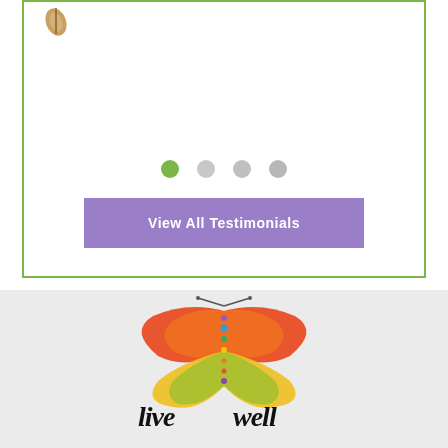[Figure (screenshot): Upper white section with green border box containing navigation dots and a purple 'View All Testimonials' button. A small leaf/plant icon is visible at top left of the box.]
View All Testimonials
[Figure (logo): Live Well logo featuring a colorful butterfly made of rainbow-colored wing segments and chakra symbols, with stylized handwritten text 'live well' below it.]